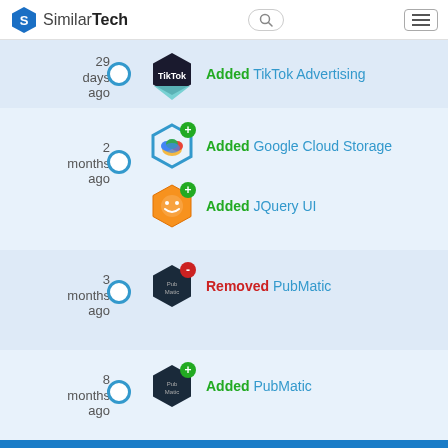SimilarTech
29 days ago — Added TikTok Advertising
2 months ago — Added Google Cloud Storage
2 months ago — Added JQuery UI
3 months ago — Removed PubMatic
8 months ago — Added PubMatic